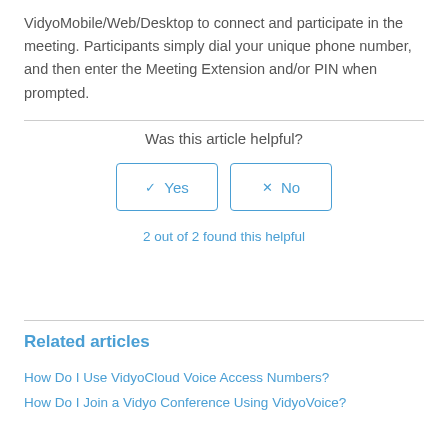VidyoMobile/Web/Desktop to connect and participate in the meeting. Participants simply dial your unique phone number, and then enter the Meeting Extension and/or PIN when prompted.
Was this article helpful?
✓ Yes
✗ No
2 out of 2 found this helpful
Related articles
How Do I Use VidyoCloud Voice Access Numbers?
How Do I Join a Vidyo Conference Using VidyoVoice?